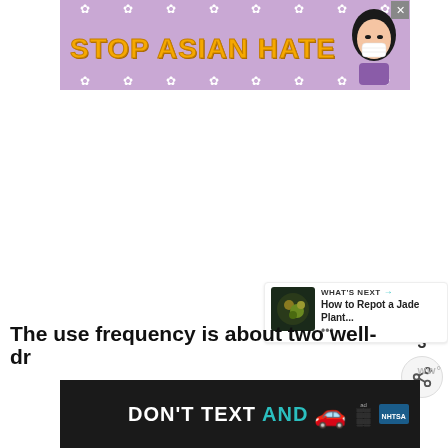[Figure (infographic): Stop Asian Hate banner advertisement with purple background, yellow bold text reading STOP ASIAN HATE, white daisy flowers, and an illustrated Asian woman character on the right. Close button in top right corner.]
[Figure (infographic): Sidebar UI elements: teal heart/like button, number 3, and share button with plus icon]
[Figure (infographic): What's Next widget showing a thumbnail image and text: WHAT'S NEXT with arrow, How to Repot a Jade Plant...]
The use frequency is about two well-dr
[Figure (infographic): Bottom banner advertisement with dark background, white text DON'T TEXT AND with teal AND, red car emoji, ad badge, and NHTSA logo. Close button in top right.]